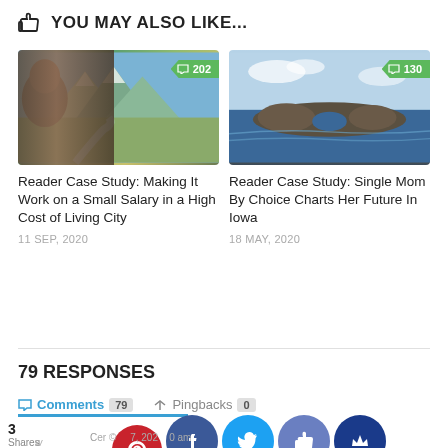👍 YOU MAY ALSO LIKE...
[Figure (photo): Mountain/river landscape photo with person on left side, comment badge showing 202]
[Figure (photo): Coastal rock arch island photo, comment badge showing 130]
Reader Case Study: Making It Work on a Small Salary in a High Cost of Living City
11 SEP, 2020
Reader Case Study: Single Mom By Choice Charts Her Future In Iowa
18 MAY, 2020
79 RESPONSES
💬 Comments 79   ➥ Pingbacks 0
3 Shares